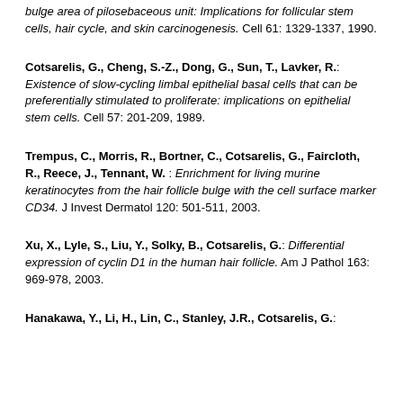bulge area of pilosebaceous unit: Implications for follicular stem cells, hair cycle, and skin carcinogenesis. Cell 61: 1329-1337, 1990.
Cotsarelis, G., Cheng, S.-Z., Dong, G., Sun, T., Lavker, R.: Existence of slow-cycling limbal epithelial basal cells that can be preferentially stimulated to proliferate: implications on epithelial stem cells. Cell 57: 201-209, 1989.
Trempus, C., Morris, R., Bortner, C., Cotsarelis, G., Faircloth, R., Reece, J., Tennant, W. : Enrichment for living murine keratinocytes from the hair follicle bulge with the cell surface marker CD34. J Invest Dermatol 120: 501-511, 2003.
Xu, X., Lyle, S., Liu, Y., Solky, B., Cotsarelis, G.: Differential expression of cyclin D1 in the human hair follicle. Am J Pathol 163: 969-978, 2003.
Hanakawa, Y., Li, H., Lin, C., Stanley, J.R., Cotsarelis, G.: